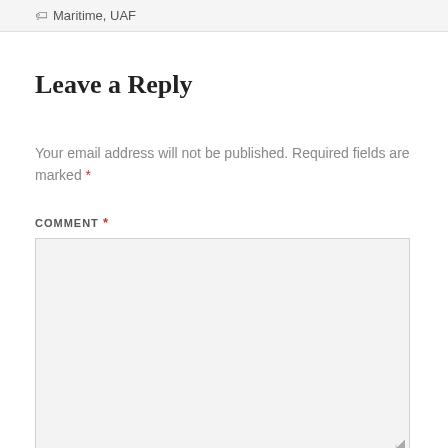Maritime, UAF
Leave a Reply
Your email address will not be published. Required fields are marked *
COMMENT *